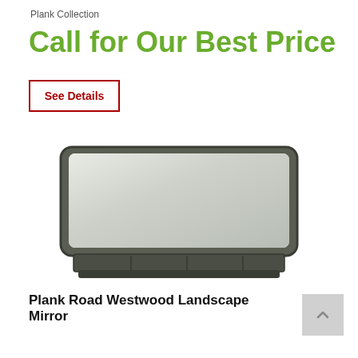Plank Collection
Call for Our Best Price
See Details
[Figure (photo): Plank Road Westwood Landscape Mirror product photo — a wide rectangular mirror with dark metal/bronze frame with rounded top corners and a small shelf at the bottom base]
Plank Road Westwood Landscape Mirror